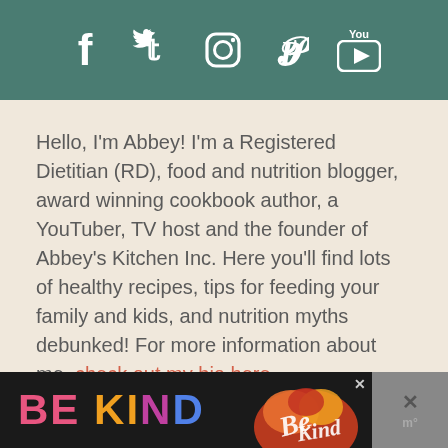[Figure (other): Dark teal header bar with social media icons: Facebook, Twitter, Instagram, Pinterest, YouTube]
Hello, I'm Abbey! I'm a Registered Dietitian (RD), food and nutrition blogger, award winning cookbook author, a YouTuber, TV host and the founder of Abbey's Kitchen Inc. Here you'll find lots of healthy recipes, tips for feeding your family and kids, and nutrition myths debunked! For more information about me, check out my bio here.
WITH SCIENCE & SASS,
[Figure (other): Advertisement banner at bottom: BE KIND text in colorful letters with decorative floral graphic and close buttons]